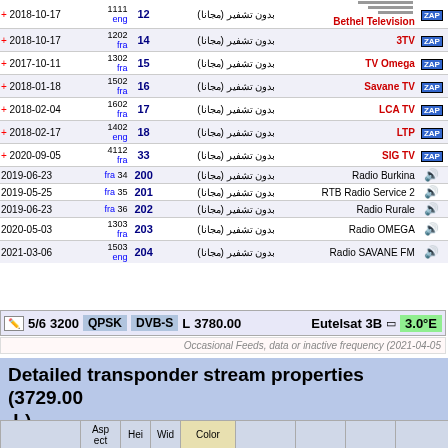| Date | SID/Lang | Ch# | Encryption | Channel Name |  |
| --- | --- | --- | --- | --- | --- |
| + 2018-10-17 | 1111 eng | 12 | بدون تشفير (مجانا) | Bethel Television | ZAP |
| + 2018-10-17 | 1202 fra | 14 | بدون تشفير (مجانا) | 3TV | ZAP |
| + 2017-10-11 | 1302 fra | 15 | بدون تشفير (مجانا) | TV Omega | ZAP |
| + 2018-01-18 | 1502 fra | 16 | بدون تشفير (مجانا) | Savane TV | ZAP |
| + 2018-02-04 | 1602 fra | 17 | بدون تشفير (مجانا) | LCA TV | ZAP |
| + 2018-02-17 | 1402 eng | 18 | بدون تشفير (مجانا) | LTP | ZAP |
| + 2020-09-05 | 4112 fra | 33 | بدون تشفير (مجانا) | SIG TV | ZAP |
| 2019-06-23 | fra 34 | 200 | بدون تشفير (مجانا) | Radio Burkina |  |
| 2019-05-25 | fra 35 | 201 | بدون تشفير (مجانا) | RTB Radio Service 2 |  |
| 2019-06-23 | fra 36 | 202 | بدون تشفير (مجانا) | Radio Rurale |  |
| 2020-05-03 | 1303 fra | 203 | بدون تشفير (مجانا) | Radio OMEGA |  |
| 2021-03-06 | 1503 eng | 204 | بدون تشفير (مجانا) | Radio SAVANE FM |  |
5/6 3200  QPSK  DVB-S  L  3780.00  Eutelsat 3B  3.0°E
Occasional Feeds, data or inactive frequency (2021-04-05)
Detailed transponder stream properties (3729.00 L)
|  | Aspect | Hei | Wid | Color |  |  |  |  |
| --- | --- | --- | --- | --- | --- | --- | --- | --- |